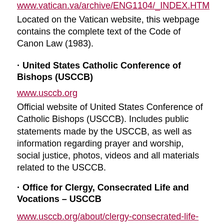www.vatican.va/archive/ENG1104/_INDEX.HTM
Located on the Vatican website, this webpage contains the complete text of the Code of Canon Law (1983).
United States Catholic Conference of Bishops (USCCB)
www.usccb.org
Official website of United States Conference of Catholic Bishops (USCCB).  Includes public statements made by the USCCB, as well as information regarding prayer and worship, social justice, photos, videos and all materials related to the USCCB.
Office for Clergy, Consecrated Life and Vocations – USCCB
www.usccb.org/about/clergy-consecrated-life-and-vocations/